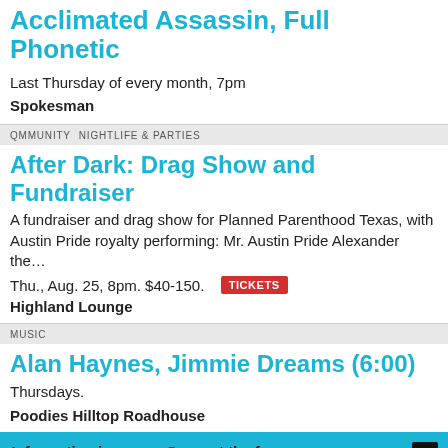Acclimated Assassin, Full Phonetic
Last Thursday of every month, 7pm
Spokesman
QMMUNITY   NIGHTLIFE & PARTIES
After Dark: Drag Show and Fundraiser
A fundraiser and drag show for Planned Parenthood Texas, with Austin Pride royalty performing: Mr. Austin Pride Alexander the…
Thu., Aug. 25, 8pm. $40-150. TICKETS
Highland Lounge
MUSIC
Alan Haynes, Jimmie Dreams (6:00)
Thursdays.
Poodies Hilltop Roadhouse
Information is power. Support the free press, so we can support Austin.
SUPPORT THE CHRONICLE →